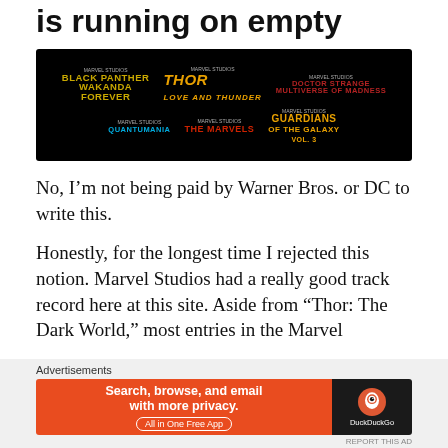is running on empty
[Figure (photo): Black background image showing Marvel Studios movie logos: Black Panther: Wakanda Forever, Thor: Love and Thunder, Doctor Strange in the Multiverse of Madness, Ant-Man and the Wasp: Quantumania, The Marvels, Guardians of the Galaxy Vol. 3]
No, I’m not being paid by Warner Bros. or DC to write this.
Honestly, for the longest time I rejected this notion. Marvel Studios had a really good track record here at this site. Aside from “Thor: The Dark World,” most entries in the Marvel
Advertisements
[Figure (screenshot): DuckDuckGo advertisement banner: Search, browse, and email with more privacy. All in One Free App. DuckDuckGo logo on dark right panel.]